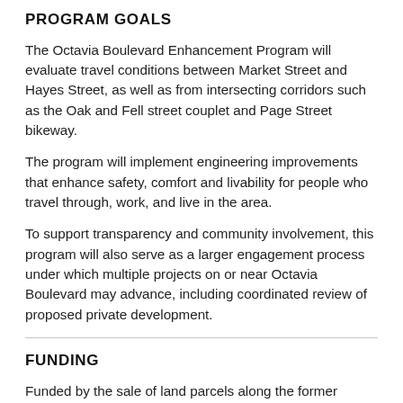PROGRAM GOALS
The Octavia Boulevard Enhancement Program will evaluate travel conditions between Market Street and Hayes Street, as well as from intersecting corridors such as the Oak and Fell street couplet and Page Street bikeway.
The program will implement engineering improvements that enhance safety, comfort and livability for people who travel through, work, and live in the area.
To support transparency and community involvement, this program will also serve as a larger engagement process under which multiple projects on or near Octavia Boulevard may advance, including coordinated review of proposed private development.
FUNDING
Funded by the sale of land parcels along the former Central Freeway, as well as developer impact fees, this